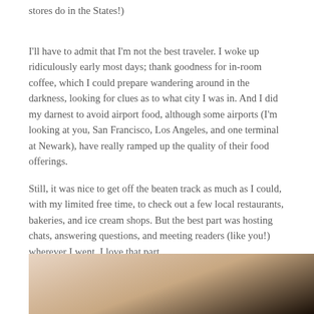stores do in the States!)
I'll have to admit that I'm not the best traveler. I woke up ridiculously early most days; thank goodness for in-room coffee, which I could prepare wandering around in the darkness, looking for clues as to what city I was in. And I did my darnest to avoid airport food, although some airports (I'm looking at you, San Francisco, Los Angeles, and one terminal at Newark), have really ramped up the quality of their food offerings.
Still, it was nice to get off the beaten track as much as I could, with my limited free time, to check out a few local restaurants, bakeries, and ice cream shops. But the best part was hosting chats, answering questions, and meeting readers (like you!) wherever I went. I love that part.
[Figure (photo): Close-up photo, warm tones, appears to show a person or food item, partially visible at bottom of page]